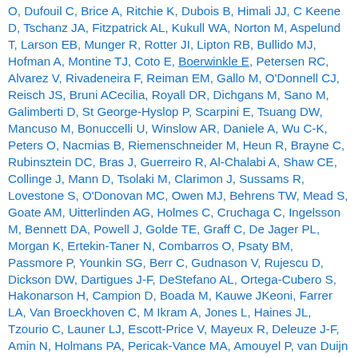O, Dufouil C, Brice A, Ritchie K, Dubois B, Himali JJ, C Keene D, Tschanz JA, Fitzpatrick AL, Kukull WA, Norton M, Aspelund T, Larson EB, Munger R, Rotter JI, Lipton RB, Bullido MJ, Hofman A, Montine TJ, Coto E, Boerwinkle E, Petersen RC, Alvarez V, Rivadeneira F, Reiman EM, Gallo M, O'Donnell CJ, Reisch JS, Bruni ACecilia, Royall DR, Dichgans M, Sano M, Galimberti D, St George-Hyslop P, Scarpini E, Tsuang DW, Mancuso M, Bonuccelli U, Winslow AR, Daniele A, Wu C-K, Peters O, Nacmias B, Riemenschneider M, Heun R, Brayne C, Rubinsztein DC, Bras J, Guerreiro R, Al-Chalabi A, Shaw CE, Collinge J, Mann D, Tsolaki M, Clarimon J, Sussams R, Lovestone S, O'Donovan MC, Owen MJ, Behrens TW, Mead S, Goate AM, Uitterlinden AG, Holmes C, Cruchaga C, Ingelsson M, Bennett DA, Powell J, Golde TE, Graff C, De Jager PL, Morgan K, Ertekin-Taner N, Combarros O, Psaty BM, Passmore P, Younkin SG, Berr C, Gudnason V, Rujescu D, Dickson DW, Dartigues J-F, DeStefano AL, Ortega-Cubero S, Hakonarson H, Campion D, Boada M, Kauwe JKeoni, Farrer LA, Van Broeckhoven C, M Ikram A, Jones L, Haines JL, Tzourio C, Launer LJ, Escott-Price V, Mayeux R, Deleuze J-F, Amin N, Holmans PA, Pericak-Vance MA, Amouyel P, van Duijn CM, Ramirez A, San Wang L-, Lambert J-C, Seshadri S, Williams J, Schellenberg GD. Rare coding variants in PLCG2, ABI3, and TREM2 implicate microglial-mediated